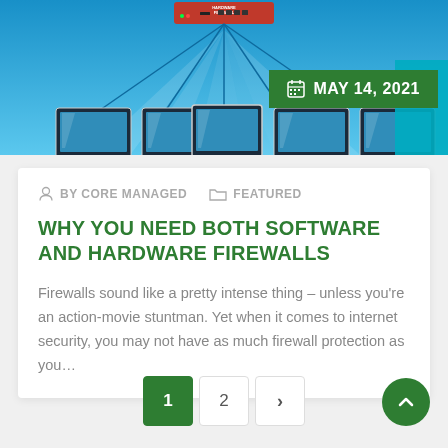[Figure (illustration): Hero image showing a hardware firewall device connected to multiple computer monitors on a blue background, with a green date badge showing MAY 14, 2021]
BY CORE MANAGED   FEATURED
WHY YOU NEED BOTH SOFTWARE AND HARDWARE FIREWALLS
Firewalls sound like a pretty intense thing – unless you're an action-movie stuntman. Yet when it comes to internet security, you may not have as much firewall protection as you…